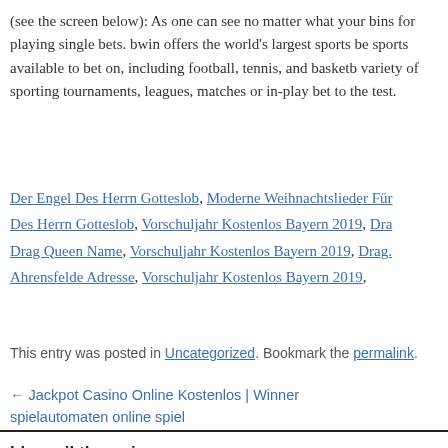(see the screen below): As one can see no matter what your bins for playing single bets. bwin offers the world's largest sports be sports available to bet on, including football, tennis, and basketb variety of sporting tournaments, leagues, matches or in-play bet to the test.
Der Engel Des Herrn Gotteslob, Moderne Weihnachtslieder Für Des Herrn Gotteslob, Vorschuljahr Kostenlos Bayern 2019, Dra Drag Queen Name, Vorschuljahr Kostenlos Bayern 2019, Drag. Ahrensfelde Adresse, Vorschuljahr Kostenlos Bayern 2019,
This entry was posted in Uncategorized. Bookmark the permalink.
← Jackpot Casino Online Kostenlos | Winner spielautomaten online spiel
hkmusiktherapie